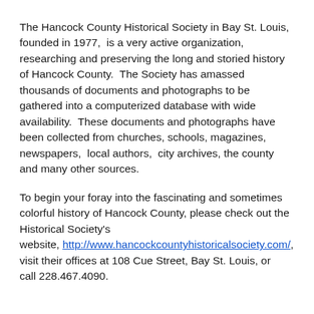The Hancock County Historical Society in Bay St. Louis, founded in 1977, is a very active organization, researching and preserving the long and storied history of Hancock County. The Society has amassed thousands of documents and photographs to be gathered into a computerized database with wide availability. These documents and photographs have been collected from churches, schools, magazines, newspapers, local authors, city archives, the county and many other sources.
To begin your foray into the fascinating and sometimes colorful history of Hancock County, please check out the Historical Society's website, http://www.hancockcountyhistoricalsociety.com/, visit their offices at 108 Cue Street, Bay St. Louis, or call 228.467.4090.